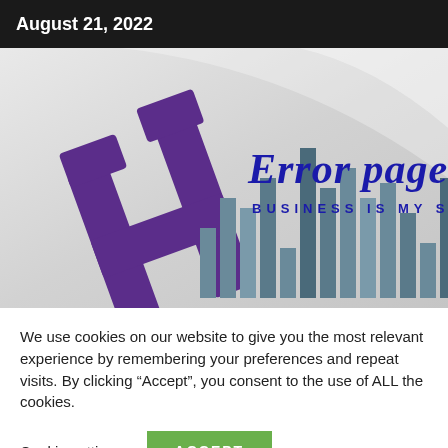August 21, 2022
[Figure (logo): Website banner with a purple H-shaped logo/icon on the left, a bar chart graphic in grey-blue tones in the center, and 'Error page' in large blue italic text with 'BUSINESS IS MY STEP' subtitle below it in blue on the right.]
We use cookies on our website to give you the most relevant experience by remembering your preferences and repeat visits. By clicking “Accept”, you consent to the use of ALL the cookies.
Cookie settings
ACCEPT